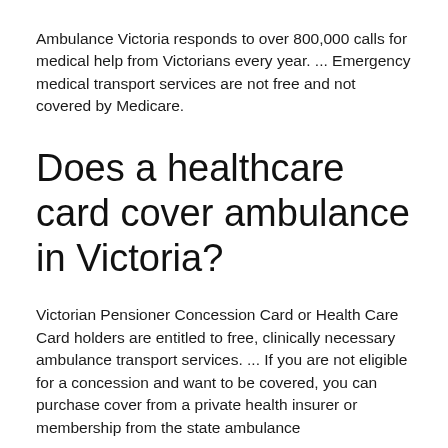Ambulance Victoria responds to over 800,000 calls for medical help from Victorians every year. ... Emergency medical transport services are not free and not covered by Medicare.
Does a healthcare card cover ambulance in Victoria?
Victorian Pensioner Concession Card or Health Care Card holders are entitled to free, clinically necessary ambulance transport services. ... If you are not eligible for a concession and want to be covered, you can purchase cover from a private health insurer or membership from the state ambulance